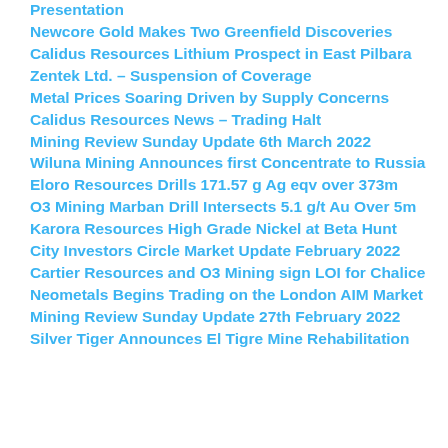Presentation
Newcore Gold Makes Two Greenfield Discoveries
Calidus Resources Lithium Prospect in East Pilbara
Zentek Ltd. – Suspension of Coverage
Metal Prices Soaring Driven by Supply Concerns
Calidus Resources News – Trading Halt
Mining Review Sunday Update 6th March 2022
Wiluna Mining Announces first Concentrate to Russia
Eloro Resources Drills 171.57 g Ag eqv over 373m
O3 Mining Marban Drill Intersects 5.1 g/t Au Over 5m
Karora Resources High Grade Nickel at Beta Hunt
City Investors Circle Market Update February 2022
Cartier Resources and O3 Mining sign LOI for Chalice
Neometals Begins Trading on the London AIM Market
Mining Review Sunday Update 27th February 2022
Silver Tiger Announces El Tigre Mine Rehabilitation